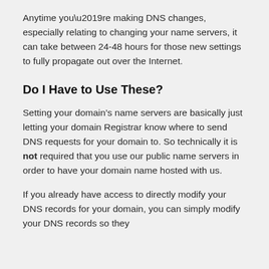Anytime you’re making DNS changes, especially relating to changing your name servers, it can take between 24-48 hours for those new settings to fully propagate out over the Internet.
Do I Have to Use These?
Setting your domain’s name servers are basically just letting your domain Registrar know where to send DNS requests for your domain to. So technically it is not required that you use our public name servers in order to have your domain name hosted with us.
If you already have access to directly modify your DNS records for your domain, you can simply modify your DNS records so they